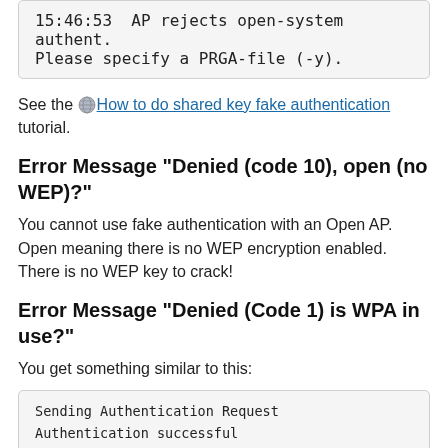[Figure (screenshot): Code box showing: 15:46:53  AP rejects open-system authent. / Please specify a PRGA-file (-y).]
See the 🌐How to do shared key fake authentication tutorial.
Error Message "Denied (code 10), open (no WEP)?"
You cannot use fake authentication with an Open AP. Open meaning there is no WEP encryption enabled. There is no WEP key to crack!
Error Message "Denied (Code 1) is WPA in use?"
You get something similar to this:
[Figure (screenshot): Code box showing: Sending Authentication Request / Authentication successful]